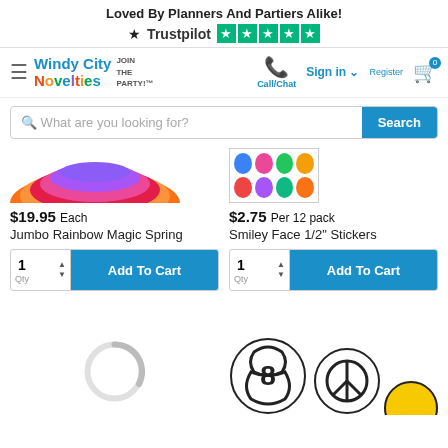Loved By Planners And Partiers Alike! Trustpilot ★★★★★
[Figure (screenshot): Windy City Novelties website navigation bar with logo, Call/Chat, Sign in, Register, and cart icon]
What are you looking for? Search
[Figure (photo): Jumbo Rainbow Magic Spring product image - colorful spiral spring toy]
$19.95 Each
Jumbo Rainbow Magic Spring
1 Qty Add To Cart
[Figure (photo): Smiley Face 1/2 inch Stickers - grid of colorful emoji stickers]
$2.75 Per 12 pack
Smiley Face 1/2" Stickers
1 Qty Add To Cart
[Figure (photo): Loading spinner on left, hacky sack balls with number 8 and peace sign patterns on right, partial yellow smiley ball at bottom right]